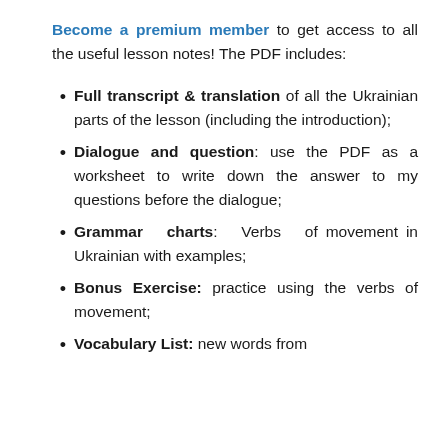Become a premium member to get access to all the useful lesson notes! The PDF includes:
Full transcript & translation of all the Ukrainian parts of the lesson (including the introduction);
Dialogue and question: use the PDF as a worksheet to write down the answer to my questions before the dialogue;
Grammar charts: Verbs of movement in Ukrainian with examples;
Bonus Exercise: practice using the verbs of movement;
Vocabulary List: new words from